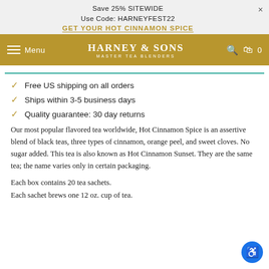Save 25% SITEWIDE
Use Code: HARNEYFEST22
GET YOUR HOT CINNAMON SPICE
Menu  HARNEY & SONS MASTER TEA BLENDERS  0
Free US shipping on all orders
Ships within 3-5 business days
Quality guarantee: 30 day returns
Our most popular flavored tea worldwide, Hot Cinnamon Spice is an assertive blend of black teas, three types of cinnamon, orange peel, and sweet cloves. No sugar added. This tea is also known as Hot Cinnamon Sunset. They are the same tea; the name varies only in certain packaging.
Each box contains 20 tea sachets.
Each sachet brews one 12 oz. cup of tea.